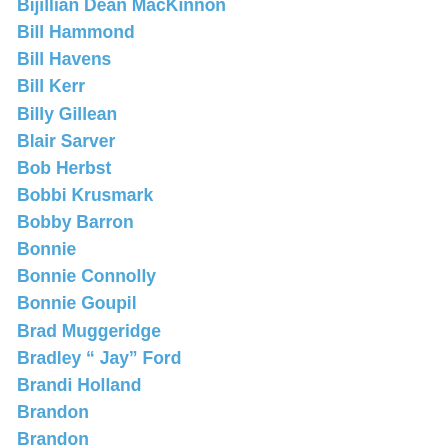Bijillian Dean MacKinnon
Bill Hammond
Bill Havens
Bill Kerr
Billy Gillean
Blair Sarver
Bob Herbst
Bobbi Krusmark
Bobby Barron
Bonnie
Bonnie Connolly
Bonnie Goupil
Brad Muggeridge
Bradley “ Jay” Ford
Brandi Holland
Brandon
Brandon
Brandon Krogstad
Brandon Long
Brandon Snow